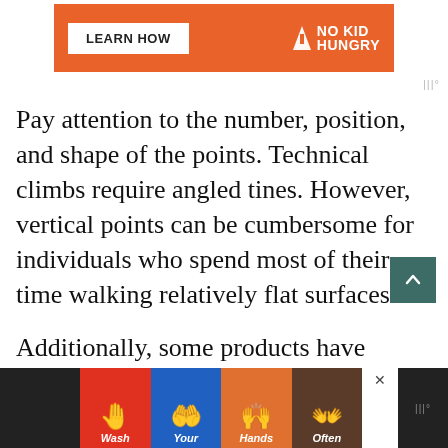[Figure (infographic): Orange No Kid Hungry advertisement banner with 'LEARN HOW' button and No Kid Hungry logo]
Pay attention to the number, position, and shape of the points. Technical climbs require angled tines. However, vertical points can be cumbersome for individuals who spend most of their time walking relatively flat surfaces.
Additionally, some products have adjustable points. These points can be moved during different stages of climbs.
[Figure (infographic): Bottom advertisement banner - Wash Your Hands Often with colorful panels and hand emoji icons]